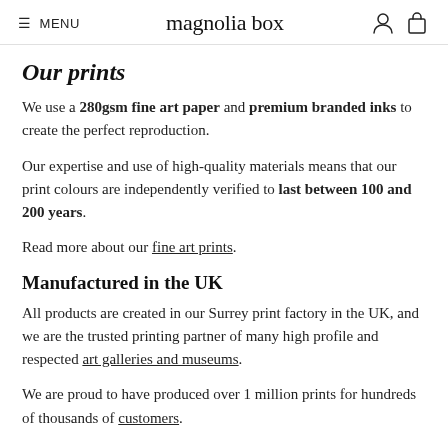≡ MENU  magnolia box
Our prints
We use a 280gsm fine art paper and premium branded inks to create the perfect reproduction.
Our expertise and use of high-quality materials means that our print colours are independently verified to last between 100 and 200 years.
Read more about our fine art prints.
Manufactured in the UK
All products are created in our Surrey print factory in the UK, and we are the trusted printing partner of many high profile and respected art galleries and museums.
We are proud to have produced over 1 million prints for hundreds of thousands of customers.